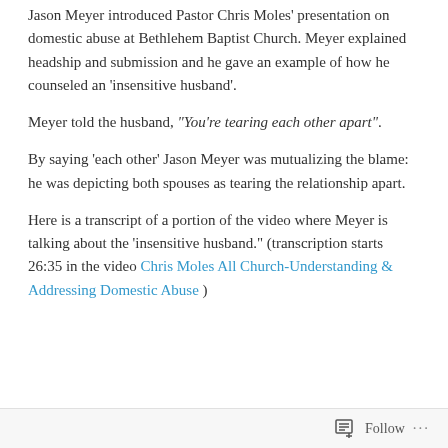Jason Meyer introduced Pastor Chris Moles' presentation on domestic abuse at Bethlehem Baptist Church. Meyer explained headship and submission and he gave an example of how he counseled an 'insensitive husband'.
Meyer told the husband, "You're tearing each other apart".
By saying 'each other' Jason Meyer was mutualizing the blame: he was depicting both spouses as tearing the relationship apart.
Here is a transcript of a portion of the video where Meyer is talking about the 'insensitive husband.' (transcription starts 26:35 in the video Chris Moles All Church-Understanding & Addressing Domestic Abuse )
Follow ···